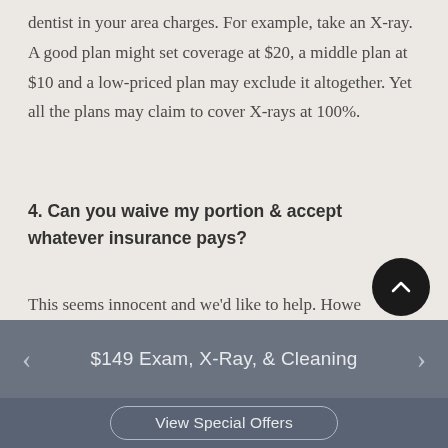dentist in your area charges. For example, take an X-ray. A good plan might set coverage at $20, a middle plan at $10 and a low-priced plan may exclude it altogether. Yet all the plans may claim to cover X-rays at 100%.
4. Can you waive my portion & accept whatever insurance pays?
This seems innocent and we'd like to help. However, such acts are considered falsified billing. Carriers audit records for such activity and prosecute violators
‹  $149 Exam, X-Ray, & Cleaning  ›
View Special Offers